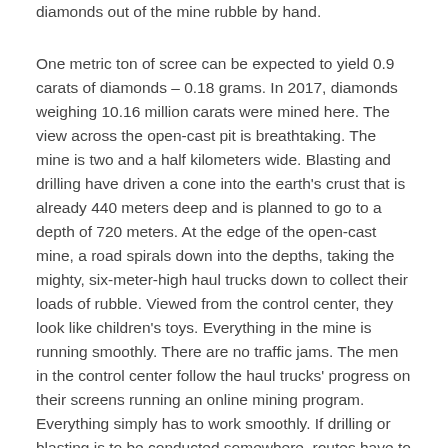diamonds out of the mine rubble by hand.
One metric ton of scree can be expected to yield 0.9 carats of diamonds – 0.18 grams. In 2017, diamonds weighing 10.16 million carats were mined here. The view across the open-cast pit is breathtaking. The mine is two and a half kilometers wide. Blasting and drilling have driven a cone into the earth's crust that is already 440 meters deep and is planned to go to a depth of 720 meters. At the edge of the open-cast mine, a road spirals down into the depths, taking the mighty, six-meter-high haul trucks down to collect their loads of rubble. Viewed from the control center, they look like children's toys. Everything in the mine is running smoothly. There are no traffic jams. The men in the control center follow the haul trucks' progress on their screens running an online mining program. Everything simply has to work smoothly. If drilling or blasting is to be conducted somewhere, routes have to be changed in good time. In summer, water is used